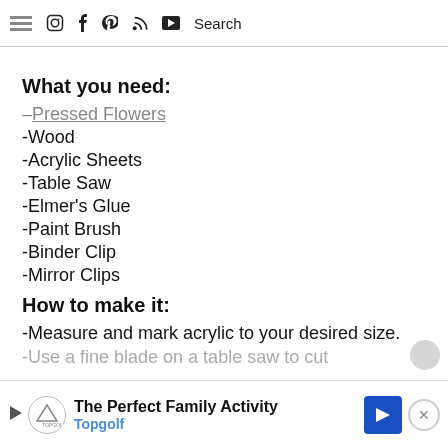Menu | Instagram | Facebook | Pinterest | RSS | Play | Search
What you need:
–Pressed Flowers
-Wood
-Acrylic Sheets
-Table Saw
-Elmer's Glue
-Paint Brush
-Binder Clip
-Mirror Clips
How to make it:
-Measure and mark acrylic to your desired size.
-Use a fine blade on a table saw to cut
The Perfect Family Activity Topgolf